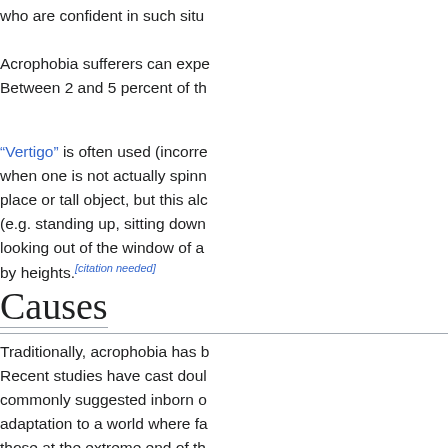who are confident in such situ
Acrophobia sufferers can expe Between 2 and 5 percent of th
"Vertigo" is often used (incorre when one is not actually spinn place or tall object, but this alc (e.g. standing up, sitting down looking out of the window of a by heights.[citation needed]
Causes
Traditionally, acrophobia has b Recent studies have cast doul commonly suggested inborn o adaptation to a world where fa those at the extreme end of th